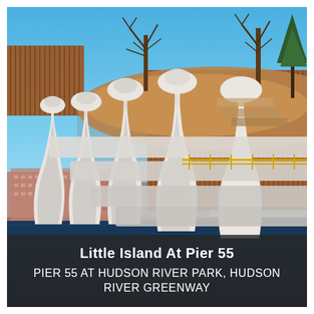[Figure (photo): Photograph of Little Island at Pier 55 in Hudson River Park. The image shows distinctive white concrete tulip-shaped piers supporting a terraced park structure with wooden/metal fencing. Trees are visible at the top of the elevated park. In the background, residential apartment buildings across the Hudson River are visible. The foreground shows dark river water.]
Little Island At Pier 55
PIER 55 AT HUDSON RIVER PARK, HUDSON RIVER GREENWAY